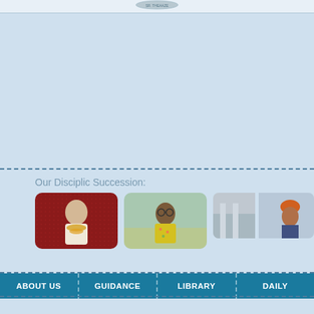[Figure (logo): Circular logo/emblem at top center of page]
Our Disciplic Succession:
[Figure (photo): Photo of a person in religious attire, seated, with decorative red background (first in disciplic succession row)]
[Figure (photo): Photo of a person wearing glasses and yellow floral clothing, seated (second in disciplic succession row)]
[Figure (photo): Partially visible photos of two individuals in outdoor/indoor setting (third in disciplic succession row)]
ABOUT US | GUIDANCE | LIBRARY | DAILY